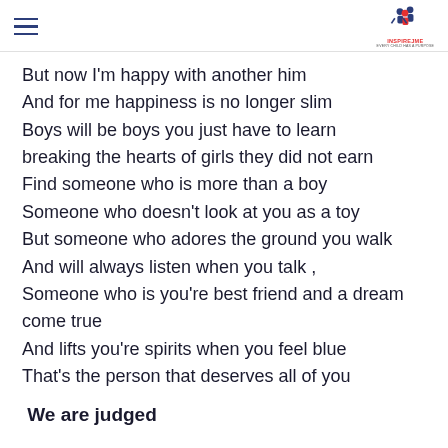≡  [INSPIREJME logo]
But now I'm happy with another him
And for me happiness is no longer slim
Boys will be boys you just have to learn
breaking the hearts of girls they did not earn
Find someone who is more than a boy
Someone who doesn't look at you as a toy
But someone who adores the ground you walk
And will always listen when you talk ,
Someone who is you're best friend and a dream come true
And lifts you're spirits when you feel blue
That's the person that deserves all of you
We are judged
We are judged on what we do,
We are judged on what we don't do,
We are judged on what we achieve,